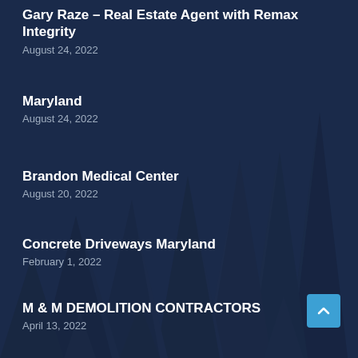Gary Raze – Real Estate Agent with Remax Integrity
August 24, 2022
Maryland
August 24, 2022
Brandon Medical Center
August 20, 2022
Concrete Driveways Maryland
February 1, 2022
M & M DEMOLITION CONTRACTORS
April 13, 2022